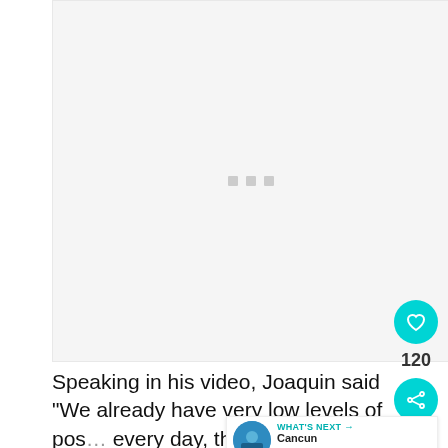[Figure (other): Video player placeholder with light gray background and three small gray squares in the center indicating loading state]
Speaking in his video, Joaquin said “We already have very low levels of pos… every day, the number of hospitalized people…
[Figure (other): UI overlay: like button (teal circle with heart icon), count 120, share button (teal circle with share icon), and a What's Next banner showing Cancun Removes All...]